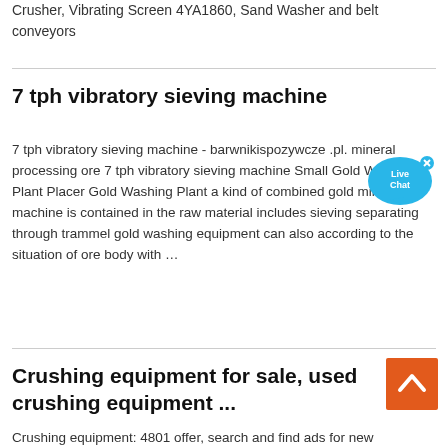Crusher, Vibrating Screen 4YA1860, Sand Washer and belt conveyors
7 tph vibratory sieving machine
7 tph vibratory sieving machine - barwnikispozywcze .pl. mineral processing ore 7 tph vibratory sieving machine Small Gold Washing Plant Placer Gold Washing Plant a kind of combined gold mining machine is contained in the raw material includes sieving separating through trammel gold washing equipment can also according to the situation of ore body with …
Crushing equipment for sale, used crushing equipment ...
Crushing equipment: 4801 offer, search and find ads for new